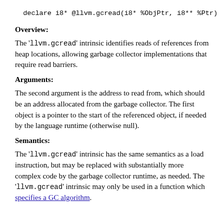declare i8* @llvm.gcread(i8* %ObjPtr, i8** %Ptr)
Overview:
The 'llvm.gcread' intrinsic identifies reads of references from heap locations, allowing garbage collector implementations that require read barriers.
Arguments:
The second argument is the address to read from, which should be an address allocated from the garbage collector. The first object is a pointer to the start of the referenced object, if needed by the language runtime (otherwise null).
Semantics:
The 'llvm.gcread' intrinsic has the same semantics as a load instruction, but may be replaced with substantially more complex code by the garbage collector runtime, as needed. The 'llvm.gcread' intrinsic may only be used in a function which specifies a GC algorithm.